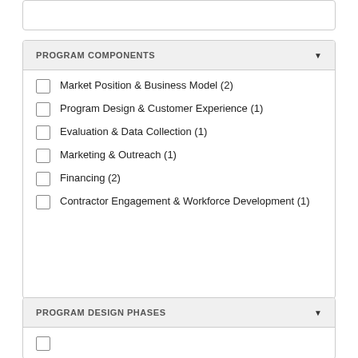PROGRAM COMPONENTS
Market Position & Business Model (2)
Program Design & Customer Experience (1)
Evaluation & Data Collection (1)
Marketing & Outreach (1)
Financing (2)
Contractor Engagement & Workforce Development (1)
PROGRAM DESIGN PHASES